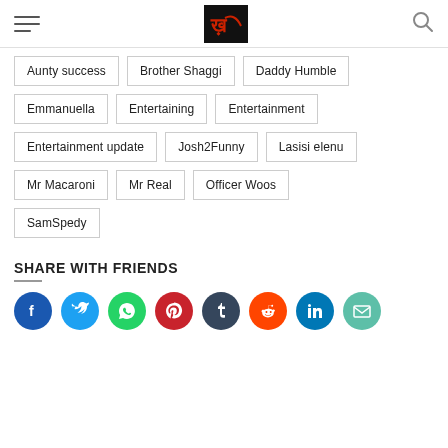Navigation header with hamburger menu, logo, and search icon
Aunty success
Brother Shaggi
Daddy Humble
Emmanuella
Entertaining
Entertainment
Entertainment update
Josh2Funny
Lasisi elenu
Mr Macaroni
Mr Real
Officer Woos
SamSpedy
SHARE WITH FRIENDS
[Figure (infographic): Row of 8 circular social media share icons: Facebook (blue), Twitter (light blue), WhatsApp (green), Pinterest (red), Tumblr (dark blue-grey), Reddit (orange-red), LinkedIn (blue), Email (teal)]